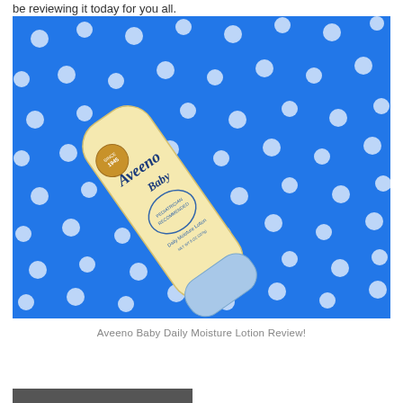be reviewing it today for you all.
[Figure (photo): Aveeno Baby Daily Moisture Lotion bottle lying diagonally on a bright blue polka-dot fabric background. The bottle is pale yellow with blue text reading 'Aveeno Baby' and 'Daily Moisture Lotion', with a blue cap at the bottom and a round gold/brown seal logo near the top.]
Aveeno Baby Daily Moisture Lotion Review!